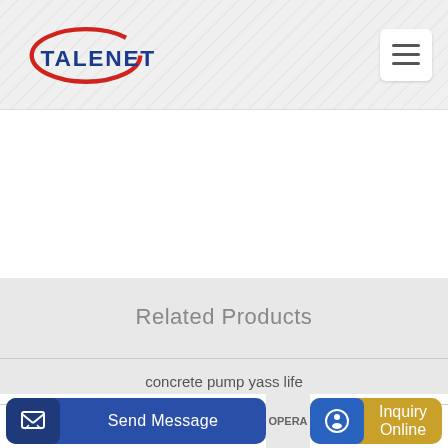[Figure (logo): TALENET company logo with red ellipse swoosh and blue text]
Related Products
concrete pump yass life
300l cement concrete mixer machine with lift
Send Message
Inquiry Online